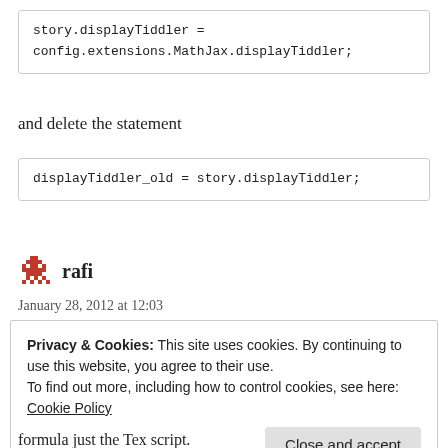[Figure (screenshot): Code block showing: story.displayTiddler = config.extensions.MathJax.displayTiddler;]
and delete the statement
[Figure (screenshot): Code block showing: displayTiddler_old = story.displayTiddler;]
rafi
January 28, 2012 at 12:03
Privacy & Cookies: This site uses cookies. By continuing to use this website, you agree to their use.
To find out more, including how to control cookies, see here: Cookie Policy
Close and accept
formula just the Tex script.